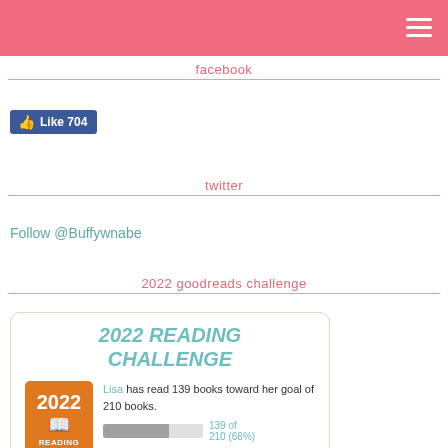facebook
[Figure (screenshot): Facebook Like button showing 704 likes]
twitter
Follow @Buffywnabe
2022 goodreads challenge
[Figure (infographic): 2022 Reading Challenge widget: Lisa has read 139 books toward her goal of 210 books. 139 of 210 (66%). view books.]